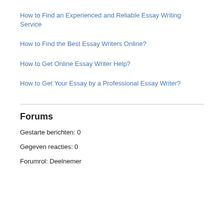How to Find an Experienced and Reliable Essay Writing Service
How to Find the Best Essay Writers Online?
How to Get Online Essay Writer Help?
How to Get Your Essay by a Professional Essay Writer?
Forums
Gestarte berichten: 0
Gegeven reacties: 0
Forumrol: Deelnemer